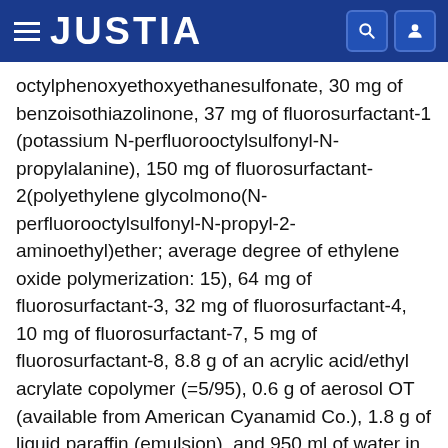JUSTIA
octylphenoxyethoxyethanesulfonate, 30 mg of benzoisothiazolinone, 37 mg of fluorosurfactant-1 (potassium N-perfluorooctylsulfonyl-N-propylalanine), 150 mg of fluorosurfactant-2(polyethylene glycolmono(N-perfluorooctylsulfonyl-N-propyl-2-aminoethyl)ether; average degree of ethylene oxide polymerization: 15), 64 mg of fluorosurfactant-3, 32 mg of fluorosurfactant-4, 10 mg of fluorosurfactant-7, 5 mg of fluorosurfactant-8, 8.8 g of an acrylic acid/ethyl acrylate copolymer (=5/95), 0.6 g of aerosol OT (available from American Cyanamid Co.), 1.8 g of liquid paraffin (emulsion), and 950 ml of water in a container kept at 40° C.
5) Preparation of Light-Sensitive Layer (Em Layer) Coating Composition
5-1) Preparation of Silver Halide Emulsion-1